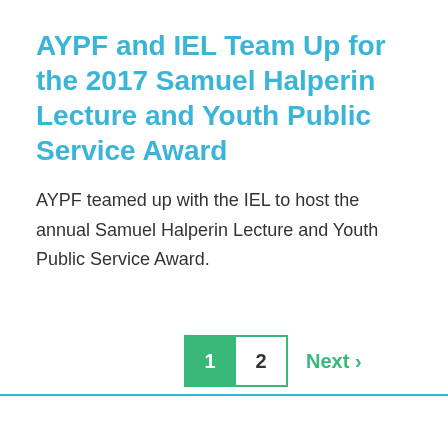AYPF and IEL Team Up for the 2017 Samuel Halperin Lecture and Youth Public Service Award
AYPF teamed up with the IEL to host the annual Samuel Halperin Lecture and Youth Public Service Award.